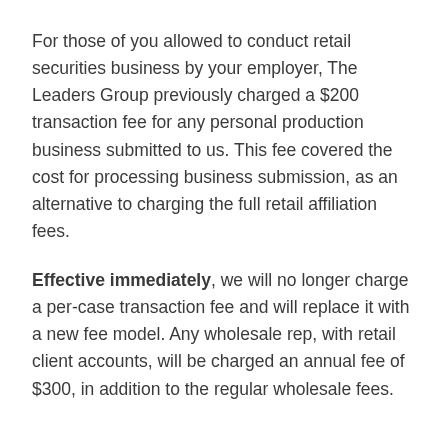For those of you allowed to conduct retail securities business by your employer, The Leaders Group previously charged a $200 transaction fee for any personal production business submitted to us. This fee covered the cost for processing business submission, as an alternative to charging the full retail affiliation fees.
Effective immediately, we will no longer charge a per-case transaction fee and will replace it with a new fee model. Any wholesale rep, with retail client accounts, will be charged an annual fee of $300, in addition to the regular wholesale fees.